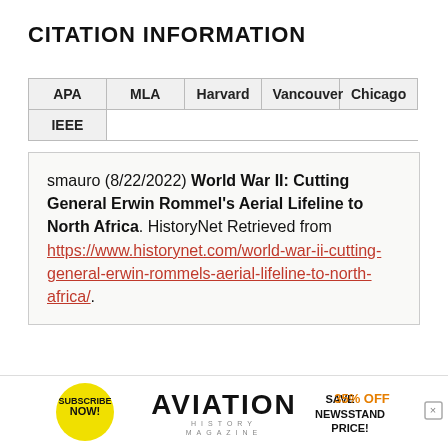CITATION INFORMATION
| APA | MLA | Harvard | Vancouver | Chicago | IEEE |
| --- | --- | --- | --- | --- | --- |
smauro (8/22/2022) World War II: Cutting General Erwin Rommel’s Aerial Lifeline to North Africa. HistoryNet Retrieved from https://www.historynet.com/world-war-ii-cutting-general-erwin-rommels-aerial-lifeline-to-north-africa/.
[Figure (other): Aviation History magazine advertisement banner with yellow Subscribe Now circle, Aviation logo, and Save 35% Off Newsstand Price text]